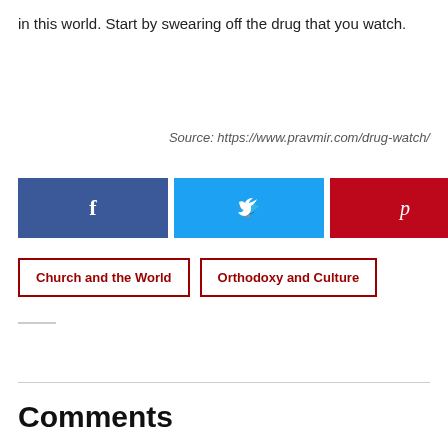in this world. Start by swearing off the drug that you watch.
Source: https://www.pravmir.com/drug-watch/
[Figure (other): Social sharing buttons: Facebook (blue), Twitter (cyan), Pinterest (red), and a share count showing 0 SHARES]
Church and the World
Orthodoxy and Culture
Comments